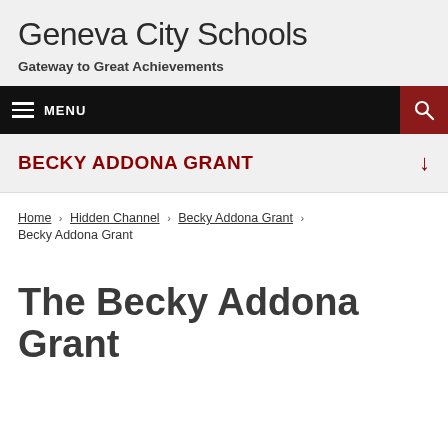Geneva City Schools
Gateway to Great Achievements
BECKY ADDONA GRANT
Home › Hidden Channel › Becky Addona Grant › Becky Addona Grant
The Becky Addona Grant